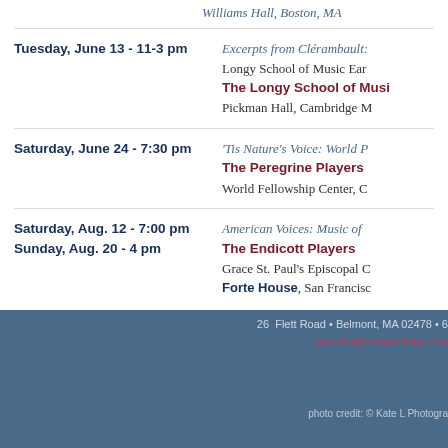Williams Hall, Boston, MA
Tuesday, June 13 - 11-3 pm | Excerpts from Clérambault:... Longy School of Music Ear... The Longy School of Music Pickman Hall, Cambridge M
Saturday, June 24 - 7:30 pm | 'Tis Nature's Voice: World P... The Peregrine Players World Fellowship Center, C
Saturday, Aug. 12 - 7:00 pm / Sunday, Aug. 20 - 4 pm | American Voices: Music of... The Endicott Players Grace St. Paul's Episcopal C... Forte House, San Francisco
26 Flett Road • Belmont, MA 02478 • pamela@pameladellal.com
photo credit: © Kate L Photogra...